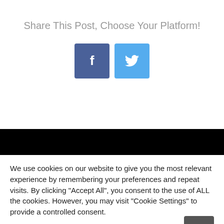Share This Post, Choose Your Platform!
[Figure (other): Facebook and Twitter share icon buttons]
We use cookies on our website to give you the most relevant experience by remembering your preferences and repeat visits. By clicking "Accept All", you consent to the use of ALL the cookies. However, you may visit "Cookie Settings" to provide a controlled consent.